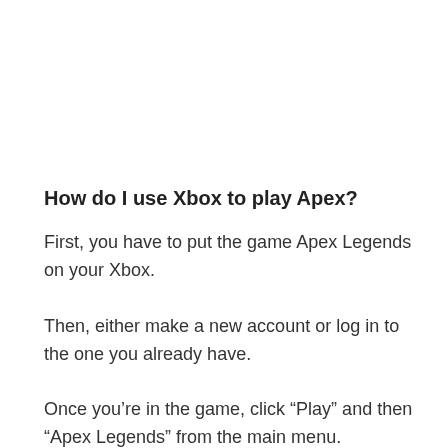How do I use Xbox to play Apex?
First, you have to put the game Apex Legends on your Xbox. Then, either make a new account or log in to the one you already have. Once you’re in the game, click “Play” and then “Apex Legends” from the main menu.